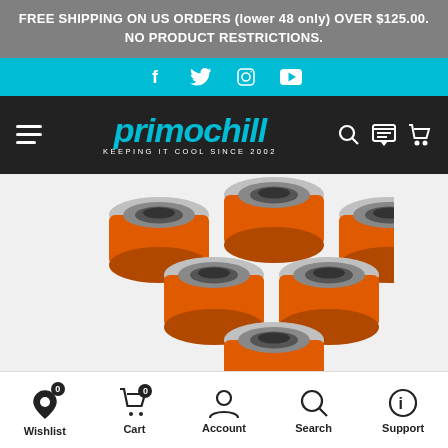FREE SHIPPING ON US ORDERS (lower 48 only) OVER $125.00. NO PRODUCT RESTRICTIONS.
[Figure (screenshot): Social media icons bar: Facebook, Twitter, Instagram, YouTube on teal/cyan background]
[Figure (logo): PrimoChill logo - 'primochill KEEPING IT COOL SINCE 2002' on dark background with navigation icons]
[Figure (photo): Six orange anodized aluminum knurled compression fittings arranged in a triangular/pyramid formation on white/light background]
Wishlist  Cart  Account  Search  Support